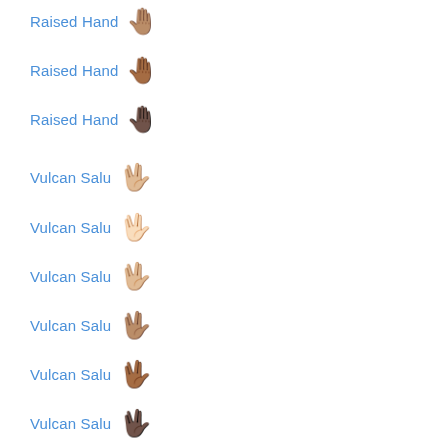Raised Hand 🖐
Raised Hand 🖐
Raised Hand 🖐
Vulcan Salu 🖖
Vulcan Salu 🖖
Vulcan Salu 🖖
Vulcan Salu 🖖
Vulcan Salu 🖖
Vulcan Salu 🖖